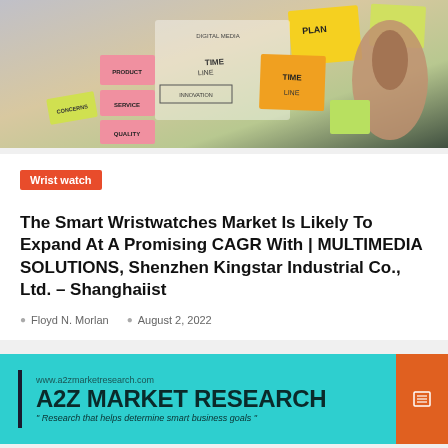[Figure (photo): Person writing on sticky notes on a glass wall with various colored sticky notes showing words like PLAN, TIME, PRODUCT, SERVICE, QUALITY, INNOVATION]
Wrist watch
The Smart Wristwatches Market Is Likely To Expand At A Promising CAGR With | MULTIMEDIA SOLUTIONS, Shenzhen Kingstar Industrial Co., Ltd. – Shanghaiist
Floyd N. Morlan   August 2, 2022
[Figure (logo): A2Z Market Research advertisement banner with cyan background showing company name, URL www.a2zmarketresearch.com, and tagline: Research that helps determine smart business goals]